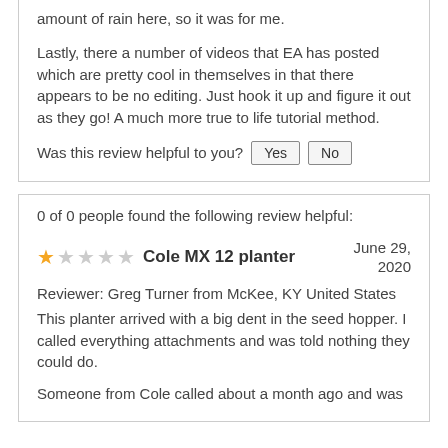amount of rain here, so it was for me.
Lastly, there a number of videos that EA has posted which are pretty cool in themselves in that there appears to be no editing. Just hook it up and figure it out as they go! A much more true to life tutorial method.
Was this review helpful to you? Yes No
0 of 0 people found the following review helpful:
Cole MX 12 planter
June 29, 2020
Reviewer: Greg Turner from McKee, KY United States
This planter arrived with a big dent in the seed hopper. I called everything attachments and was told nothing they could do.
Someone from Cole called about a month ago and was